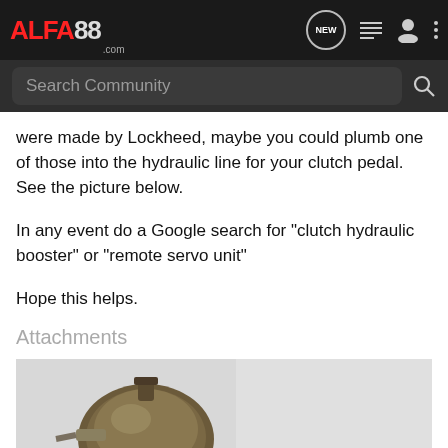ALFA88.com — navigation bar with logo, NEW, list, user, and menu icons
Search Community
were made by Lockheed, maybe you could plumb one of those into the hydraulic line for your clutch pedal. See the picture below.
In any event do a Google search for "clutch hydraulic booster" or "remote servo unit"
Hope this helps.
Attachments
[Figure (photo): A hydraulic clutch booster unit (round metal dome shape with hose fittings) with an mrfiat.com advertisement overlay showing a red Alfa Romeo car and the text BEST ONLINE SOOURCE FOR ALFA ROMEO PARTS / mrfiat.com]